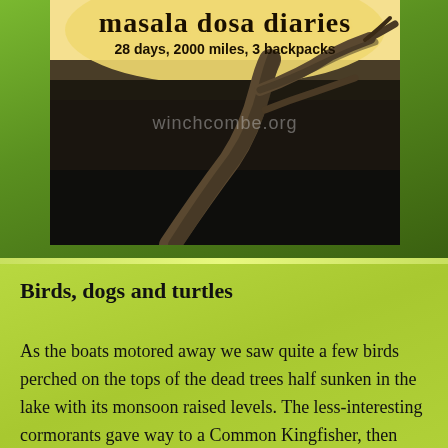[Figure (photo): Blog header image for 'masala dosa diaries, 28 days, 2000 miles, 3 backpacks' showing a dead tree branch against a dark, moody lake background. Watermark text 'winchcombe.org' overlaid on the image.]
Birds, dogs and turtles
As the boats motored away we saw quite a few birds perched on the tops of the dead trees half sunken in the lake with its monsoon raised levels. The less-interesting cormorants gave way to a Common Kingfisher, then some different herons. A few turtles were spotted